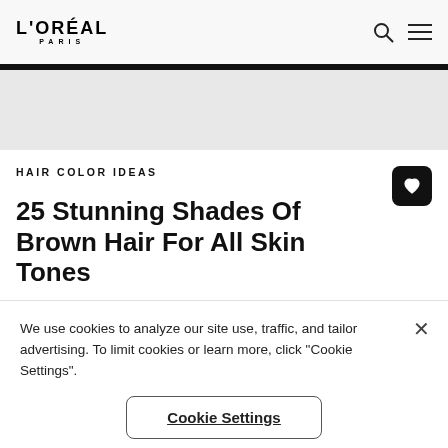L'ORÉAL PARIS
HAIR COLOR IDEAS
25 Stunning Shades Of Brown Hair For All Skin Tones
We use cookies to analyze our site use, traffic, and tailor advertising. To limit cookies or learn more, click "Cookie Settings".
Cookie Settings